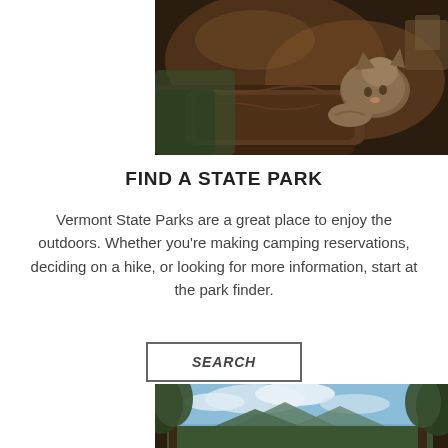[Figure (photo): A cat or animal resting/sleeping in a camping tent or sleeping bag, warm tones, dark background]
FIND A STATE PARK
Vermont State Parks are a great place to enjoy the outdoors. Whether you're making camping reservations, deciding on a hike, or looking for more information, start at the park finder.
SEARCH
[Figure (photo): Trees with a scenic mountain landscape view in the background, blue sky with clouds]